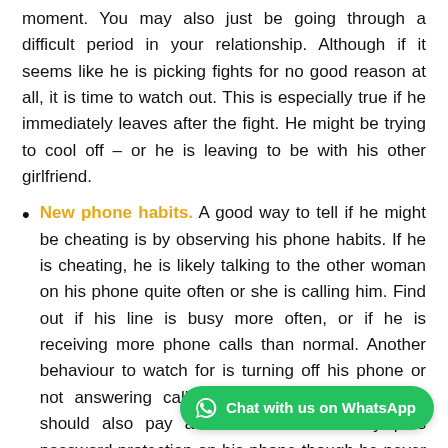moment. You may also just be going through a difficult period in your relationship. Although if it seems like he is picking fights for no good reason at all, it is time to watch out. This is especially true if he immediately leaves after the fight. He might be trying to cool off – or he is leaving to be with his other girlfriend.
New phone habits. A good way to tell if he might be cheating is by observing his phone habits. If he is cheating, he is likely talking to the other woman on his phone quite often or she is calling him. Find out if his line is busy more often, or if he is receiving more phone calls than normal. Another behaviour to watch for is turning off his phone or not answering calls when he is with you. You should also pay attention if he suddenly puts password protection on his phone though he never had one before.
Sudden change in interests. When we are exposed to